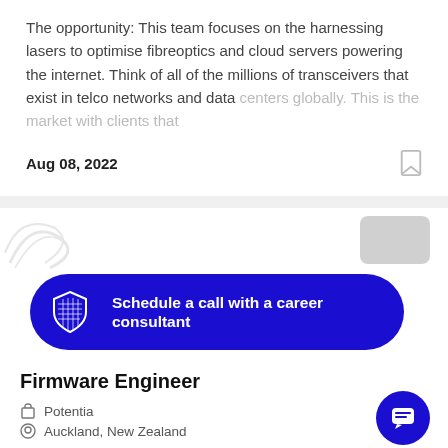The opportunity: This team focuses on the harnessing lasers to optimise fibreoptics and cloud servers powering the internet. Think of all of the millions of transceivers that exist in telco networks and data centers globally. This is the market with clients that
Aug 08, 2022
[Figure (logo): Blue banner button with shield/crest logo icon and text: Schedule a call with a career consultant]
Firmware Engineer
Potentia
Auckland, New Zealand